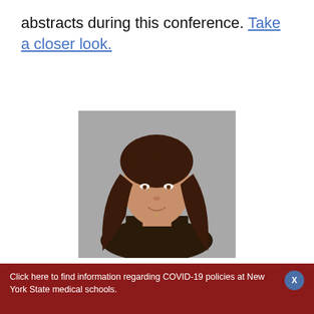abstracts during this conference. Take a closer look.
[Figure (photo): Headshot of a woman with long brown hair, wearing a dark top, against a grey background]
SUNY Downstate Health Sciences University:
Click here to find information regarding COVID-19 policies at New York State medical schools.